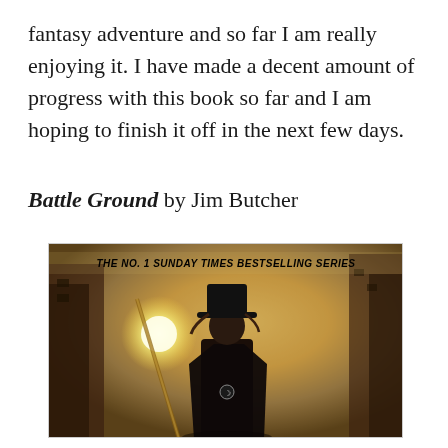fantasy adventure and so far I am really enjoying it. I have made a decent amount of progress with this book so far and I am hoping to finish it off in the next few days.
Battle Ground by Jim Butcher
[Figure (photo): Book cover of Battle Ground by Jim Butcher. Banner text reads 'THE NO. 1 SUNDAY TIMES BESTSELLING SERIES'. Image shows a figure in a wide-brimmed hat and dark coat standing in a ruined city with golden atmospheric lighting and a glowing staff.]